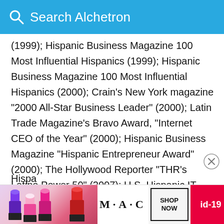Search Alchetron
(1999); Hispanic Business Magazine 100 Most Influential Hispanics (1999); Hispanic Business Magazine 100 Most Influential Hispanics (2000); Crain's New York magazine "2000 All-Star Business Leader" (2000); Latin Trade Magazine's Bravo Award, "Internet CEO of the Year" (2000); Hispanic Business Magazine "Hispanic Entrepreneur Award"(2000); The Hollywood Reporter "THR's Latino Power 50" (2007); U.S. Hispanic IT Executive Council (HITEC) "100 Most Influential Hispanics and Rising Stars in Information Technology" (2008 & 2009); PODER Magazine "The Nation's 100 Most Influential Hispanics"
[Figure (photo): Advertisement banner with lipstick products, MAC logo, SHOP NOW button, and id-19 badge]